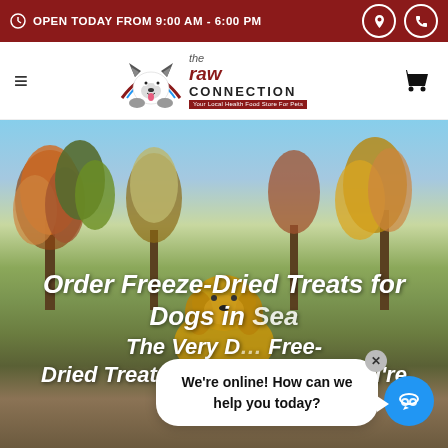OPEN TODAY FROM 9:00 AM - 6:00 PM
[Figure (logo): The Raw Connection logo with husky dog illustration and tagline 'Your Local Health Food Store For Pets']
[Figure (photo): Outdoor autumn scene with trees in fall colors and a golden retriever dog in the foreground]
Order Freeze-Dried Treats for Dogs in Sea The Very B Dried Treats. Don't see what you're looking for? Call
We're online! How can we help you today?